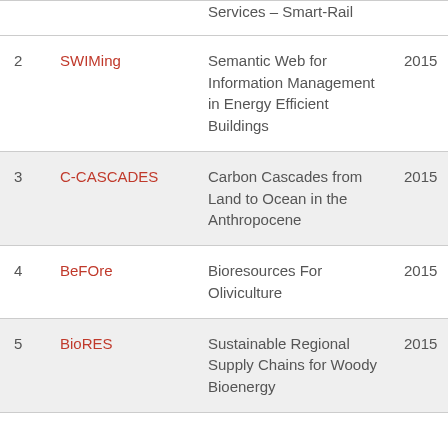| # | Acronym | Full Name | Year |
| --- | --- | --- | --- |
|  |  | Services – Smart-Rail |  |
| 2 | SWIMing | Semantic Web for Information Management in Energy Efficient Buildings | 2015 |
| 3 | C-CASCADES | Carbon Cascades from Land to Ocean in the Anthropocene | 2015 |
| 4 | BeFOre | Bioresources For Oliviculture | 2015 |
| 5 | BioRES | Sustainable Regional Supply Chains for Woody Bioenergy | 2015 |